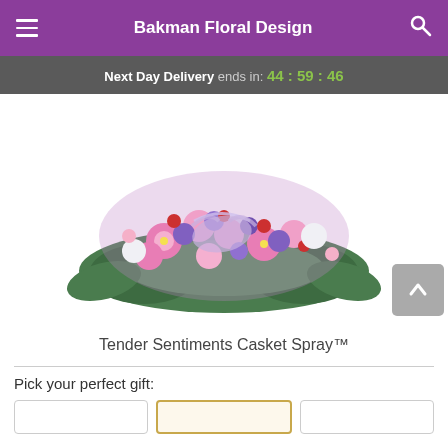Bakman Floral Design
Next Day Delivery ends in: 44:59:46
[Figure (photo): A casket spray floral arrangement featuring pink carnations, purple flowers, red accents, and lush greenery with a lavender ribbon bow, arranged in a horizontal mound shape.]
Tender Sentiments Casket Spray™
Pick your perfect gift: